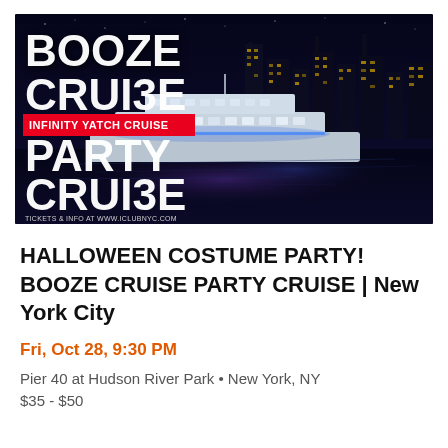[Figure (photo): Promotional banner for Booze Cruise Infinity Yacht Cruise Party Cruise. Dark nighttime cityscape background with a large white yacht illuminated with blue lights on water. Bold white text reads BOOZE CRUISE on top and PARTY CRUISE on bottom. Red banner in middle reads INFINITY YATCH CRUISE. Small text at bottom: TICKETS & INFO AT WWW.ICLUBNYC.COM]
HALLOWEEN COSTUME PARTY! BOOZE CRUISE PARTY CRUISE | New York City
Fri, Oct 28, 9:30 PM
Pier 40 at Hudson River Park • New York, NY
$35 - $50